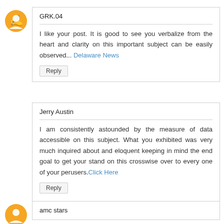GRK.04
I like your post. It is good to see you verbalize from the heart and clarity on this important subject can be easily observed... Delaware News
Reply
Jerry Austin
I am consistently astounded by the measure of data accessible on this subject. What you exhibited was very much inquired about and eloquent keeping in mind the end goal to get your stand on this crosswise over to every one of your perusers.Click Here
Reply
amc stars